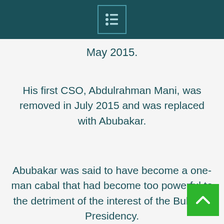Menu icon / navigation header
May 2015.
His first CSO, Abdulrahman Mani, was removed in July 2015 and was replaced with Abubakar.
Abubakar was said to have become a one-man cabal that had become too powerful to the detriment of the interest of the Buhari’s Presidency.